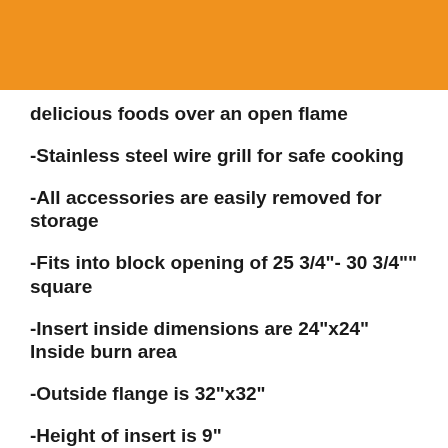delicious foods over an open flame
-Stainless steel wire grill for safe cooking
-All accessories are easily removed for storage
-Fits into block opening of 25 3/4"- 30 3/4"" square
-Insert inside dimensions are 24"x24" Inside burn area
-Outside flange is 32"x32"
-Height of insert is 9"